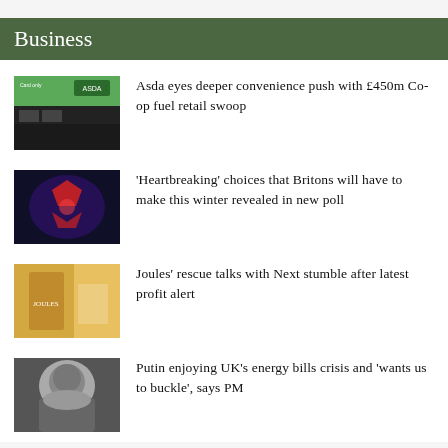Business
Asda eyes deeper convenience push with £450m Co-op fuel retail swoop
‘Heartbreaking’ choices that Britons will have to make this winter revealed in new poll
Joules’ rescue talks with Next stumble after latest profit alert
Putin enjoying UK’s energy bills crisis and ‘wants us to buckle’, says PM